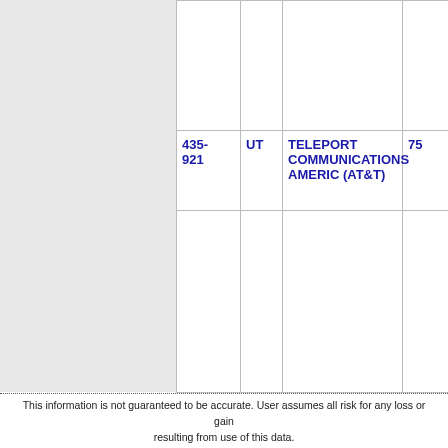|  | UT | Name |  |
| --- | --- | --- | --- |
|  |  |  |  |
| 435-921 | UT | TELEPORT COMMUNICATIONS AMERIC (AT&T) | 75 |
This information is not guaranteed to be accurate. User assumes all risk for any loss or gain resulting from use of this data.
Although I strive for accuracy and prompt updates of changed information, it is possible that